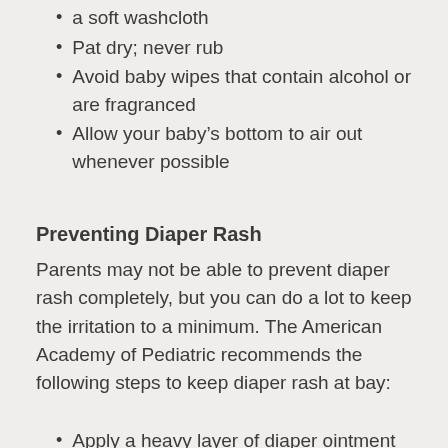a soft washcloth
Pat dry; never rub
Avoid baby wipes that contain alcohol or are fragranced
Allow your baby's bottom to air out whenever possible
Preventing Diaper Rash
Parents may not be able to prevent diaper rash completely, but you can do a lot to keep the irritation to a minimum. The American Academy of Pediatric recommends the following steps to keep diaper rash at bay:
Apply a heavy layer of diaper ointment or cream to your baby's bottom after every change.
Leave breathing room in the baby's diaper, and avoid putting the diapers on too tightly as it will